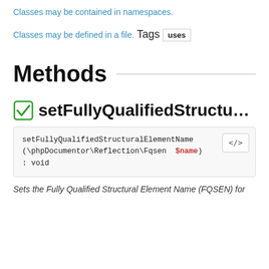Classes may be contained in namespaces.
Classes may be defined in a file.
Tags
uses
Methods
✔ setFullyQualifiedStructuralE...
setFullyQualifiedStructuralElementName (\phpDocumentor\Reflection\Fqsen $name) : void
Sets the Fully Qualified Structural Element Name (FQSEN) for